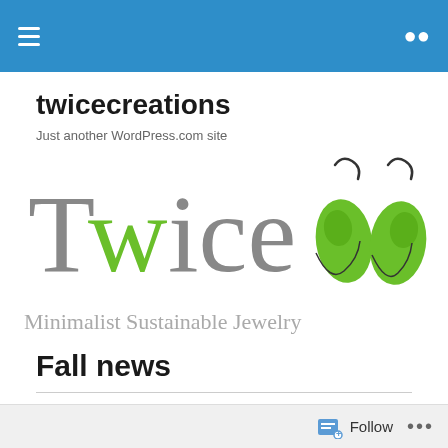twicecreations — navigation bar
twicecreations
Just another WordPress.com site
[Figure (logo): Twice Minimalist Sustainable Jewelry logo: large grey text 'Twice' with green W, two green teardrop earrings, and subtitle 'Minimalist Sustainable Jewelry']
Fall news
Follow